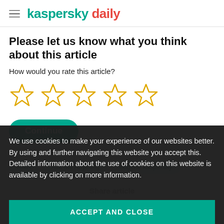kaspersky daily
Please let us know what you think about this article
How would you rate this article?
[Figure (other): Five empty star rating icons in yellow/orange outline]
Continue
AMA   Ask Me Anything   eugene kaspersky
We use cookies to make your experience of our websites better. By using and further navigating this website you accept this. Detailed information about the use of cookies on this website is available by clicking on more information.
Share article
ACCEPT AND CLOSE